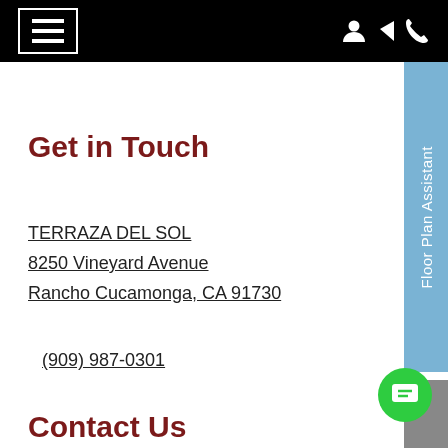Navigation bar with hamburger menu, user icon, and phone icon
Get in Touch
TERRAZA DEL SOL
8250 Vineyard Avenue
Rancho Cucamonga, CA 91730
(909) 987-0301
Contact Us
[Figure (other): Blue vertical sidebar tab with rotated text reading 'Floor Plan Assistant']
[Figure (other): Green circular chat button with message icon]